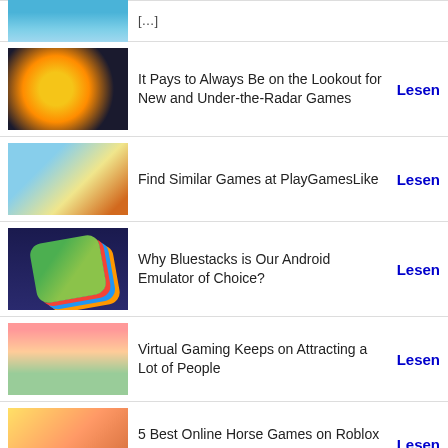[partial/cropped item at top]
It Pays to Always Be on the Lookout for New and Under-the-Radar Games — Lesen
Find Similar Games at PlayGamesLike — Lesen
Why Bluestacks is Our Android Emulator of Choice? — Lesen
Virtual Gaming Keeps on Attracting a Lot of People — Lesen
5 Best Online Horse Games on Roblox 2022 — Lesen
Tips for New Players in Taonga - Part 1: Energy Gain and Management — Lesen
What Are Some of the Best [cropped]